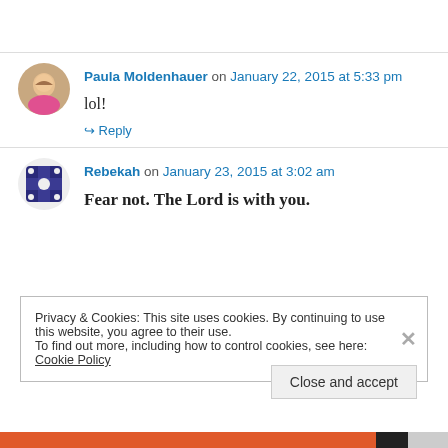Paula Moldenhauer on January 22, 2015 at 5:33 pm
lol!
↳ Reply
Rebekah on January 23, 2015 at 3:02 am
Fear not. The Lord is with you.
Privacy & Cookies: This site uses cookies. By continuing to use this website, you agree to their use.
To find out more, including how to control cookies, see here: Cookie Policy
Close and accept